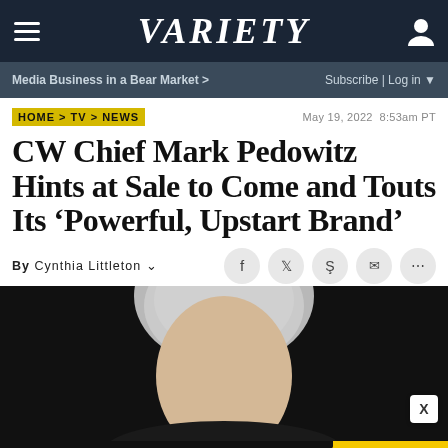VARIETY
Media Business in a Bear Market > | Subscribe | Log in
HOME > TV > NEWS | May 19, 2022 8:53am PT
CW Chief Mark Pedowitz Hints at Sale to Come and Touts Its ‘Powerful, Upstart Brand’
By Cynthia Littleton
[Figure (photo): Portrait photo of a person with grey/white hair against a dark background]
AMAZON FIRE HD TABLETS JUST $45 RIGHT NOW / SPY